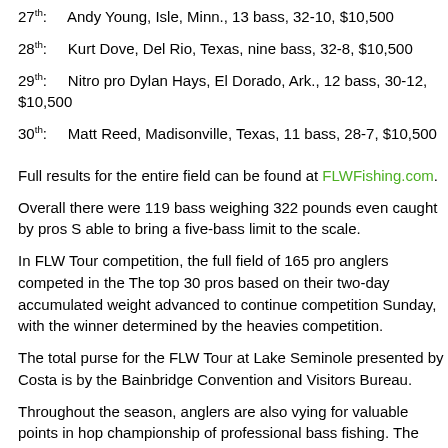27th: Andy Young, Isle, Minn., 13 bass, 32-10, $10,500
28th: Kurt Dove, Del Rio, Texas, nine bass, 32-8, $10,500
29th: Nitro pro Dylan Hays, El Dorado, Ark., 12 bass, 30-12, $10,500
30th: Matt Reed, Madisonville, Texas, 11 bass, 28-7, $10,500
Full results for the entire field can be found at FLWFishing.com.
Overall there were 119 bass weighing 322 pounds even caught by pros S able to bring a five-bass limit to the scale.
In FLW Tour competition, the full field of 165 pro anglers competed in the The top 30 pros based on their two-day accumulated weight advanced to continue competition Sunday, with the winner determined by the heavies competition.
The total purse for the FLW Tour at Lake Seminole presented by Costa is by the Bainbridge Convention and Visitors Bureau.
Throughout the season, anglers are also vying for valuable points in hop championship of professional bass fishing. The 2019 FLW Cup will be on 11 and is hosted by the Arkansas Department of Parks and Tourism and